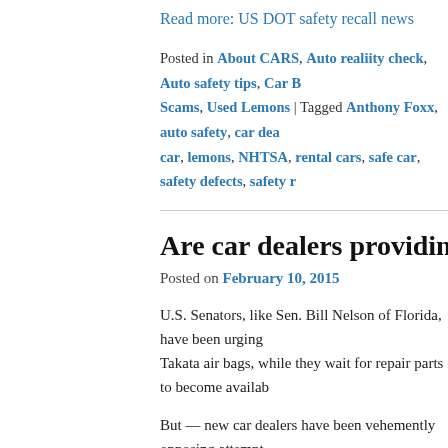Read more: US DOT safety recall news
Posted in About CARS, Auto realiity check, Auto safety tips, Car Buying Scams, Used Lemons | Tagged Anthony Foxx, auto safety, car dealers, lemon car, lemons, NHTSA, rental cars, safe car, safety defects, safety recalls
Are car dealers providing unsafe loan
Posted on February 10, 2015
U.S. Senators, like Sen. Bill Nelson of Florida, have been urging rental car dealers to stop loaning cars with Takata air bags, while they wait for repair parts to become available.
But — new car dealers have been vehemently opposing attempts to ban the loaning of cars with different defects, that have triggered a federal safety recall.
So — if you turn in your recalled Honda or Toyota at a Honda or Toyota dealer, will the loaner car be any safer? NO!!!!
Here's video of lobbyists for the new car dealers and CarMax opp